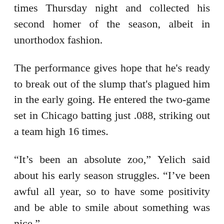times Thursday night and collected his second homer of the season, albeit in unorthodox fashion.
The performance gives hope that he's ready to break out of the slump that's plagued him in the early going. He entered the two-game set in Chicago batting just .088, striking out a team high 16 times.
“It’s been an absolute zoo,” Yelich said about his early season struggles. “I’ve been awful all year, so to have some positivity and be able to smile about something was nice.”
Starting Rotation Stepping Up
While the offense has struggled to score consistently,